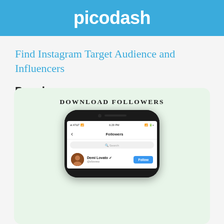picodash
Find Instagram Target Audience and Influencers
People_
[Figure (screenshot): Screenshot of mobile phone showing Instagram Followers screen with 'DOWNLOAD FOLLOWERS' heading above the phone. The phone screen shows a Followers page with a search bar and a user entry for Demi Lovato with a Follow button.]